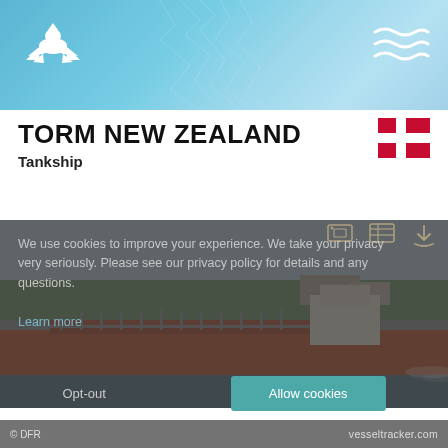vesseltracker.com
[Figure (logo): White dragon/eagle logo on blue header background]
[Figure (illustration): Wavy lines icon (waves symbol) on blue header background]
TORM NEW ZEALAND
Tankship
[Figure (illustration): Danish flag (red background with white cross)]
[Figure (photo): Photo of TORM NEW ZEALAND tankship, a large orange and white oil tanker vessel sailing on a waterway with green trees and a town in the background]
We use cookies to improve your experience. We take your privacy very seriously. Please see our privacy policy for details and any questions.
Learn more
Opt-out
Allow cookies
© DFR
vesseltracker.com